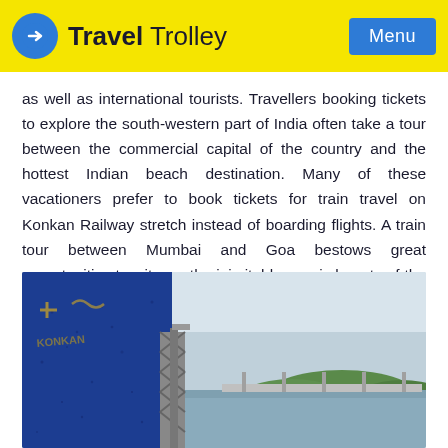Travel Trolley | Menu
as well as international tourists. Travellers booking tickets to explore the south-western part of India often take a tour between the commercial capital of the country and the hottest Indian beach destination. Many of these vacationers prefer to book tickets for train travel on Konkan Railway stretch instead of boarding flights. A train tour between Mumbai and Goa bestows great opportunities to witness the inimitable scenic beauty of the route.
[Figure (photo): A blue train carriage viewed from the side on a bridge or elevated track, with a river, bridge structure, and hilly landscape visible in the background under an overcast sky.]